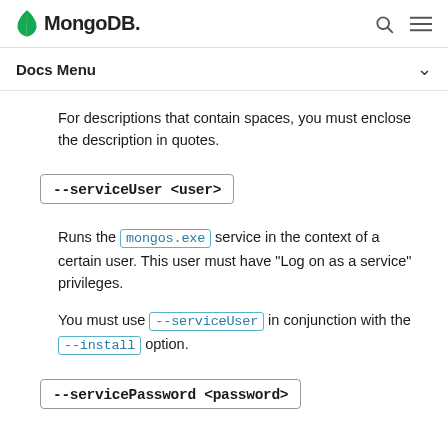MongoDB [logo] [search icon] [menu icon]
Docs Menu
For descriptions that contain spaces, you must enclose the description in quotes.
--serviceUser <user>
Runs the mongos.exe service in the context of a certain user. This user must have "Log on as a service" privileges.
You must use --serviceUser in conjunction with the --install option.
--servicePassword <password>